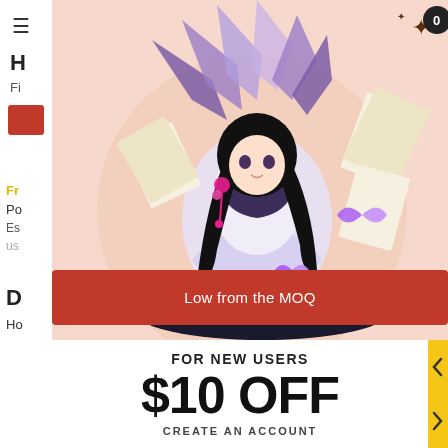[Figure (screenshot): E-commerce website screenshot showing an anime figurine product (purple/white character with butterflies), displayed on a pink background. The page has a left sidebar with navigation elements partially visible, a red banner overlay saying 'Low from the MOQ', and a promotional section below the product image.]
Low from the MOQ
FOR NEW USERS
$10 OFF
CREATE AN ACCOUNT